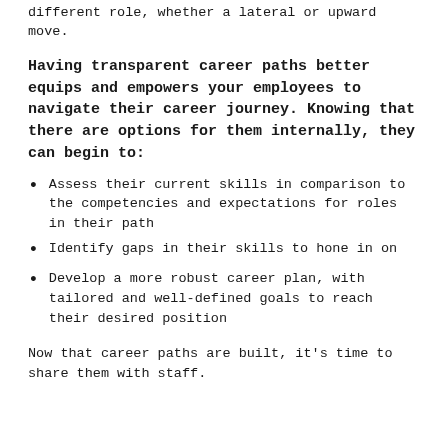different role, whether a lateral or upward move.
Having transparent career paths better equips and empowers your employees to navigate their career journey. Knowing that there are options for them internally, they can begin to:
Assess their current skills in comparison to the competencies and expectations for roles in their path
Identify gaps in their skills to hone in on
Develop a more robust career plan, with tailored and well-defined goals to reach their desired position
Now that career paths are built, it's time to share them with staff.